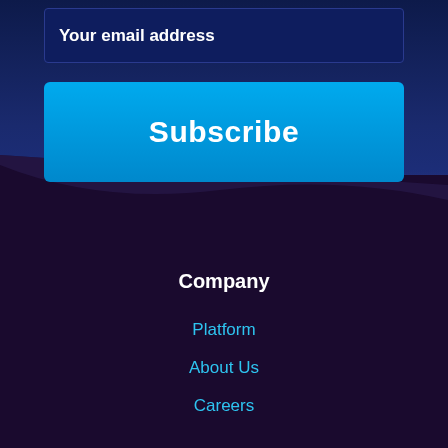Your email address
Subscribe
Company
Platform
About Us
Careers